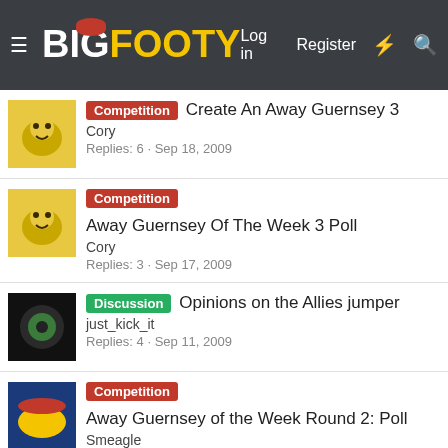BigFooty — Log in | Register
Competition — Create An Away Guernsey 3 | Cory | Replies: 6 · Sep 18, 2009
Competition — Away Guernsey Of The Week 3 Poll | Cory | Replies: 3 · Sep 17, 2009
Discussion — Opinions on the Allies jumper | just_kick_it | Replies: 4 · Sep 11, 2009
Competition — Away Guernsey of the Week Round 2: Poll | Smeagle | Replies: 1 · Sep 11, 2009
Competition — Kit of the Week Round 10: Poll | Smeagle